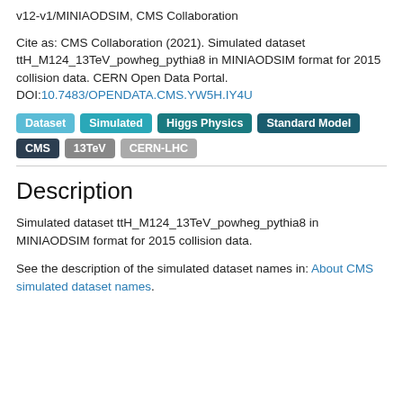v12-v1/MINIAODSIM, CMS Collaboration
Cite as: CMS Collaboration (2021). Simulated dataset ttH_M124_13TeV_powheg_pythia8 in MINIAODSIM format for 2015 collision data. CERN Open Data Portal. DOI:10.7483/OPENDATA.CMS.YW5H.IY4U
Dataset | Simulated | Higgs Physics | Standard Model | CMS | 13TeV | CERN-LHC
Description
Simulated dataset ttH_M124_13TeV_powheg_pythia8 in MINIAODSIM format for 2015 collision data.
See the description of the simulated dataset names in: About CMS simulated dataset names.